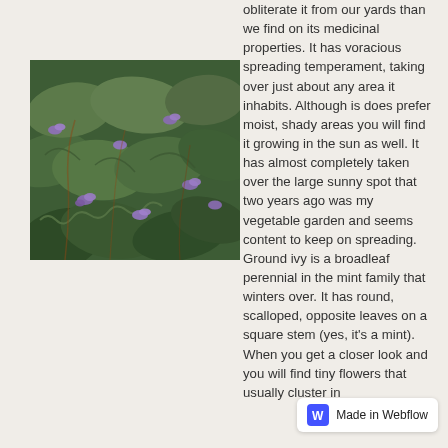[Figure (photo): Close-up photo of ground ivy plant with green scalloped leaves and small purple flowers]
obliterate it from our yards than we find on its medicinal properties. It has voracious spreading temperament, taking over just about any area it inhabits. Although is does prefer moist, shady areas you will find it growing in the sun as well. It has almost completely taken over the large sunny spot that two years ago was my vegetable garden and seems content to keep on spreading. Ground ivy is a broadleaf perennial in the mint family that winters over. It has round, scalloped, opposite leaves on a square stem (yes, it's a mint). When you get a closer look and you will find tiny flowers that usually cluster in